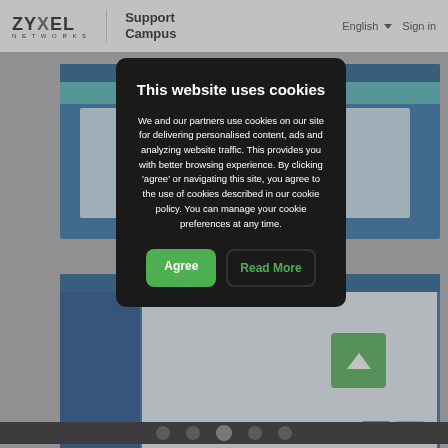ZYXEL NETWORKS | Support Campus   English ▾   Sign in
[Figure (screenshot): Zyxel Support Campus website background showing two screenshots of a network device interface on a blue background]
This website uses cookies
We and our partners use cookies on our site for delivering personalised content, ads and analyzing website traffic. This provides you with better browsing experience. By clicking 'agree' or navigating this site, you agree to the use of cookies described in our cookie policy. You can manage your cookie preferences at any time.
Agree
Read More